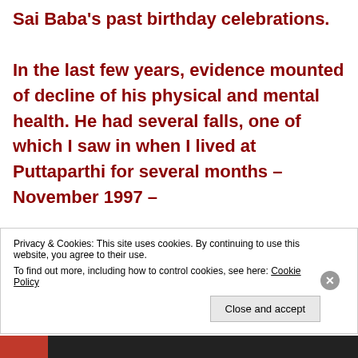Sai Baba's past birthday celebrations.

In the last few years, evidence mounted of decline of his physical and mental health. He had several falls, one of which I saw in when I lived at Puttaparthi for several months – November 1997 –
Privacy & Cookies: This site uses cookies. By continuing to use this website, you agree to their use.
To find out more, including how to control cookies, see here: Cookie Policy
Close and accept